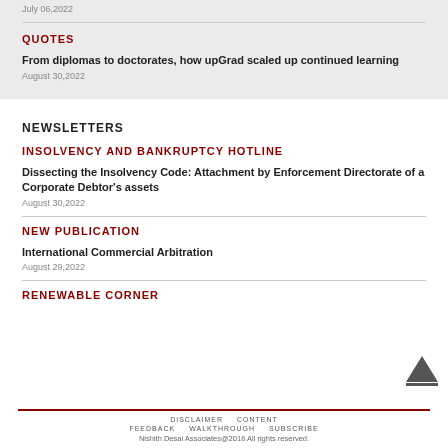July 06,2022
QUOTES
From diplomas to doctorates, how upGrad scaled up continued learning
August 30,2022
NEWSLETTERS
INSOLVENCY AND BANKRUPTCY HOTLINE
Dissecting the Insolvency Code: Attachment by Enforcement Directorate of a Corporate Debtor’s assets
August 30,2022
NEW PUBLICATION
International Commercial Arbitration
August 29,2022
RENEWABLE CORNER
DISCLAIMER   CONTENT   FEEDBACK   WALKTHROUGH   SUBSCRIBE   Nishith Desai Associates@2016 All rights reserved.